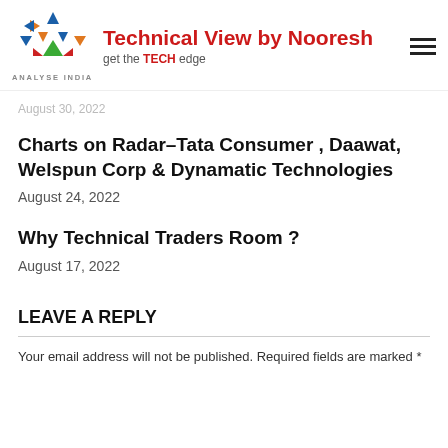Technical View by Nooresh — get the TECH edge
August 30, 2022
Charts on Radar–Tata Consumer , Daawat, Welspun Corp & Dynamatic Technologies
August 24, 2022
Why Technical Traders Room ?
August 17, 2022
LEAVE A REPLY
Your email address will not be published. Required fields are marked *